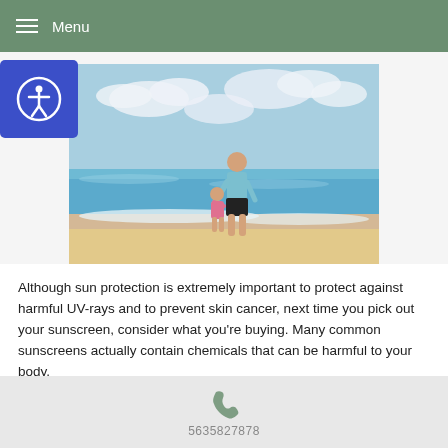Menu
[Figure (photo): A father and young child walking hand-in-hand at the beach shoreline, viewed from behind. The child is wearing pink and the father is wearing a light blue shirt. Ocean waves and blue sky visible.]
Although sun protection is extremely important to protect against harmful UV-rays and to prevent skin cancer, next time you pick out your sunscreen, consider what you're buying. Many common sunscreens actually contain chemicals that can be harmful to your body.
Chemicals to avoid in common sunscreens:
5635827878